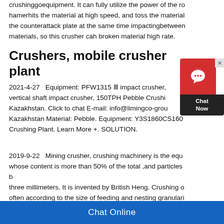crushinggoequipment. It can fully utilize the power of the rotor, hamerhits the material at high speed, and toss the material to the counterattack plate at the same time impactingbetween materials, so this crusher cah broken material high rate.
Crushers, mobile crusher plant
2021-4-27   Equipment: PFW1315 Ⅲ impact crusher, vertical shaft impact crusher, 150TPH Pebble Crushing Plant, Kazakhstan. Click to chat E-mail: info@limingco-group… Kazakhstan Material: Pebble. Equipment: Y3S1860CS160 Crushing Plant. Learn More +. SOLUTION.
2019-9-22   Mining crusher, crushing machinery is the equipment whose content is more than 50% of the total ,and particles bigger than three millimeters. It is invented by British Heng. Crushing operations often according to the size of feeding and nesting granularity
Chat Online